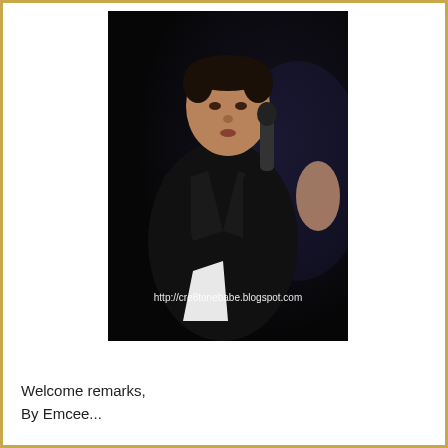[Figure (photo): A man in a black suit holding a microphone and papers, speaking on a dark stage. A watermark reads: http://cre8tonebabe.blogspot.com]
Welcome remarks,
By Emcee...